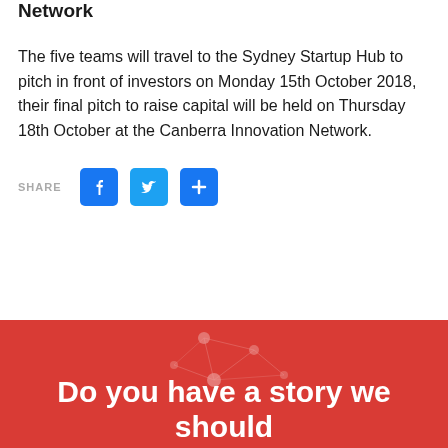Network
The five teams will travel to the Sydney Startup Hub to pitch in front of investors on Monday 15th October 2018, their final pitch to raise capital will be held on Thursday 18th October at the Canberra Innovation Network.
[Figure (infographic): Social share buttons: Facebook, Twitter, and a generic share/plus button, preceded by a SHARE label]
[Figure (infographic): Red banner with a network node graphic and partial text: Do you have a story we should]